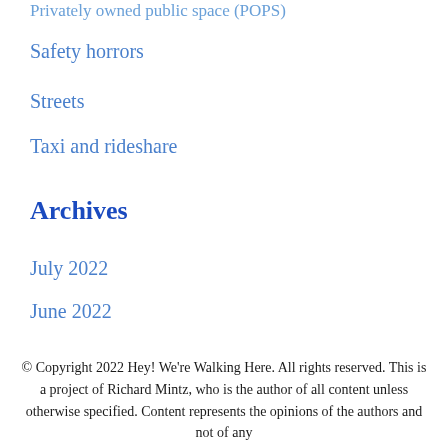Privately owned public space (POPS)
Safety horrors
Streets
Taxi and rideshare
Archives
July 2022
June 2022
© Copyright 2022 Hey! We're Walking Here. All rights reserved. This is a project of Richard Mintz, who is the author of all content unless otherwise specified. Content represents the opinions of the authors and not of any